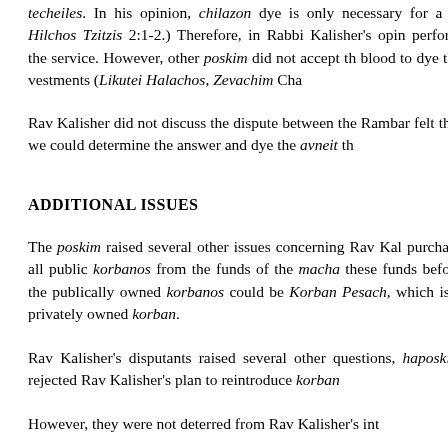techeiles. In his opinion, chilazon dye is only necessary for a in Hilchos Tzitzis 2:1-2.) Therefore, in Rabbi Kalisher's opin perform the service. However, other poskim did not accept th blood to dye the vestments (Likutei Halachos, Zevachim Cha
Rav Kalisher did not discuss the dispute between the Rambar felt that we could determine the answer and dye the avneit th
ADDITIONAL ISSUES
The poskim raised several other issues concerning Rav Kal purchase all public korbanos from the funds of the macha these funds before the publically owned korbanos could be Korban Pesach, which is a privately owned korban.
Rav Kalisher's disputants raised several other questions, haposkim rejected Rav Kalisher's plan to reintroduce korban
However, they were not deterred from Rav Kalisher's int